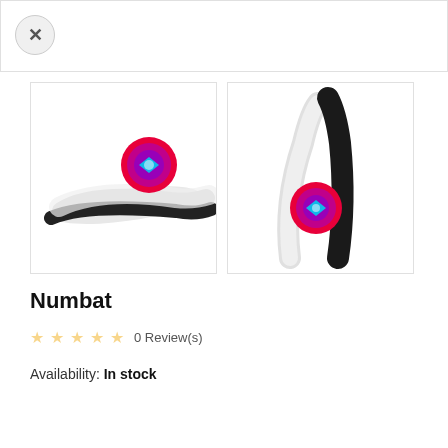[Figure (photo): Close button (X) in circular button at top left of product image viewer]
[Figure (photo): Product image showing two furry tail-shaped items (one white, one black) lying flat with a colorful circular logo badge]
[Figure (photo): Product image showing two furry tail-shaped items (one white, one black) standing upright with a colorful circular logo badge]
Numbat
☆☆☆☆☆ 0 Review(s)
Availability: In stock